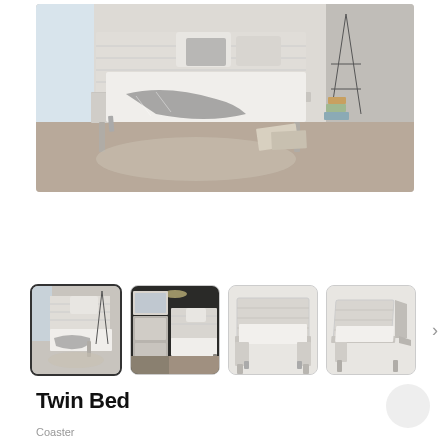[Figure (photo): Main product photo of a modern twin bed with white/silver frame, white bedding with plaid throw blanket, in a minimalist bedroom with large windows and concrete wall]
[Figure (photo): Thumbnail 1 (selected): Close-up lifestyle photo of twin bed in room setting]
[Figure (photo): Thumbnail 2: Bedroom scene with dresser and twin bed]
[Figure (photo): Thumbnail 3: Front-facing view of twin bed frame]
[Figure (photo): Thumbnail 4: Angled view of twin bed frame]
Twin Bed
Coaster